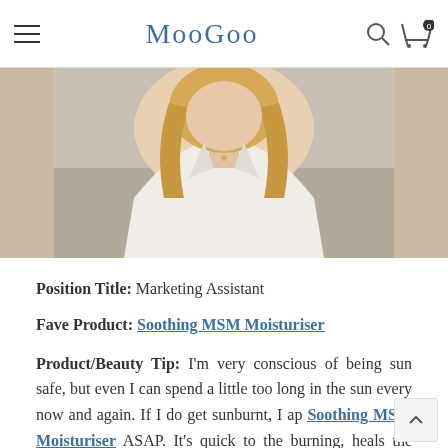MooGoo
[Figure (photo): Photo of a blonde woman in a white blazer sitting on a grey couch]
Position Title: Marketing Assistant
Fave Product: Soothing MSM Moisturiser
Product/Beauty Tip: I'm very conscious of being sun safe, but even I can spend a little too long in the sun every now and again. If I do get sunburnt, I apply the Soothing MSM Moisturiser ASAP. It's quick to ease the burning, heals the skin and the redness disappears in